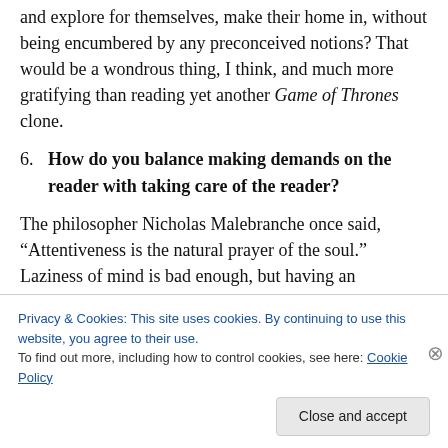and explore for themselves, make their home in, without being encumbered by any preconceived notions? That would be a wondrous thing, I think, and much more gratifying than reading yet another Game of Thrones clone.
6. How do you balance making demands on the reader with taking care of the reader?
The philosopher Nicholas Malebranche once said, “Attentiveness is the natural prayer of the soul.” Laziness of mind is bad enough, but having an unengaged soul
Privacy & Cookies: This site uses cookies. By continuing to use this website, you agree to their use.
To find out more, including how to control cookies, see here: Cookie Policy